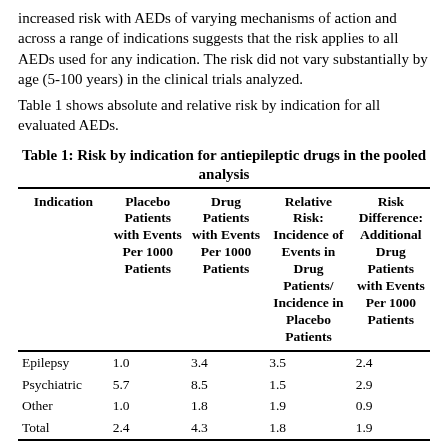increased risk with AEDs of varying mechanisms of action and across a range of indications suggests that the risk applies to all AEDs used for any indication. The risk did not vary substantially by age (5-100 years) in the clinical trials analyzed.
Table 1 shows absolute and relative risk by indication for all evaluated AEDs.
Table 1: Risk by indication for antiepileptic drugs in the pooled analysis
| Indication | Placebo Patients with Events Per 1000 Patients | Drug Patients with Events Per 1000 Patients | Relative Risk: Incidence of Events in Drug Patients/ Incidence in Placebo Patients | Risk Difference: Additional Drug Patients with Events Per 1000 Patients |
| --- | --- | --- | --- | --- |
| Epilepsy | 1.0 | 3.4 | 3.5 | 2.4 |
| Psychiatric | 5.7 | 8.5 | 1.5 | 2.9 |
| Other | 1.0 | 1.8 | 1.9 | 0.9 |
| Total | 2.4 | 4.3 | 1.8 | 1.9 |